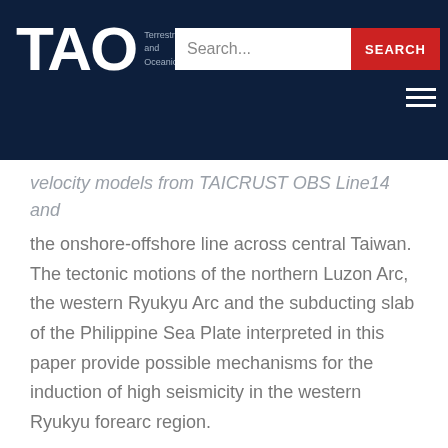TAO — Terrestrial, Atmospheric and Oceanic sciences journal
velocity models from TAICRUST OBS Line14 and the onshore-offshore line across central Taiwan. The tectonic motions of the northern Luzon Arc, the western Ryukyu Arc and the subducting slab of the Philippine Sea Plate interpreted in this paper provide possible mechanisms for the induction of high seismicity in the western Ryukyu forearc region.